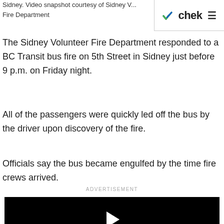Sidney. Video snapshot courtesy of Sidney Volunteer Fire Department
chek
The Sidney Volunteer Fire Department responded to a BC Transit bus fire on 5th Street in Sidney just before 9 p.m. on Friday night.
All of the passengers were quickly led off the bus by the driver upon discovery of the fire.
Officials say the bus became engulfed by the time fire crews arrived.
ADVERTISEMENT
[Figure (screenshot): Black video player with white play button triangle in the center]